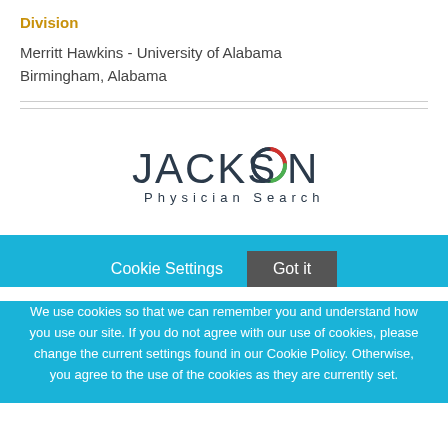Division
Merritt Hawkins - University of Alabama
Birmingham, Alabama
[Figure (logo): Jackson Physician Search logo with stylized multicolor 'O']
Cookie Settings
Got it
We use cookies so that we can remember you and understand how you use our site. If you do not agree with our use of cookies, please change the current settings found in our Cookie Policy. Otherwise, you agree to the use of the cookies as they are currently set.